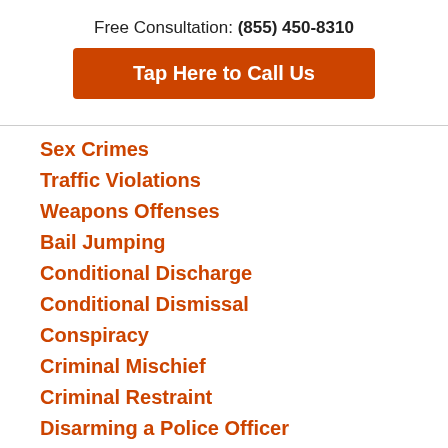Free Consultation: (855) 450-8310
Tap Here to Call Us
Sex Crimes
Traffic Violations
Weapons Offenses
Bail Jumping
Conditional Discharge
Conditional Dismissal
Conspiracy
Criminal Mischief
Criminal Restraint
Disarming a Police Officer
Disorderly Conduct